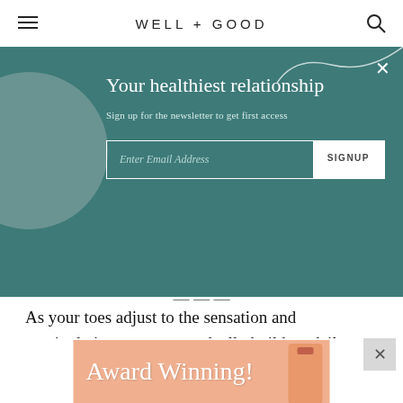WELL+GOOD
[Figure (screenshot): Newsletter signup modal overlay on teal/dark green background with gray circle decoration and white swirl. Contains headline 'Your healthiest relationship', subtitle 'Sign up for the newsletter to get first access', an email input field, and a SIGNUP button. Close X in top right.]
As your toes adjust to the sensation and manipulation, you can gradually build up daily wear. Assuming there's room in the toe-box of your shoes, Dr. Splichal actually recommends wearing them in your shoes at work or while you work out. (Note: If you're really
[Figure (photo): Bottom ad banner with peach/salmon background showing cursive 'Award Winning!' text and a sunscreen bottle.]